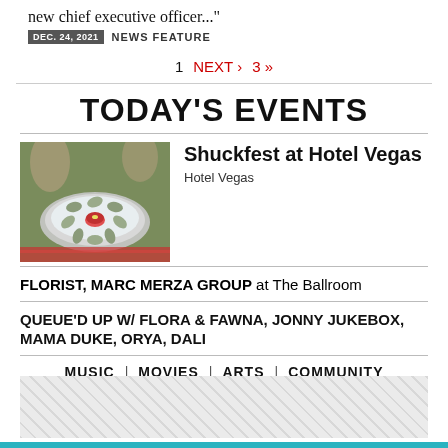new chief executive officer..."
DEC. 24, 2021  NEWS FEATURE
1  NEXT ›  3 »
TODAY'S EVENTS
[Figure (photo): Platter of oysters on ice with a dipping sauce in the center]
Shuckfest at Hotel Vegas
Hotel Vegas
FLORIST, MARC MERZA GROUP at The Ballroom
QUEUE'D UP W/ FLORA & FAWNA, JONNY JUKEBOX, MAMA DUKE, ORYA, DALI
MUSIC  |  MOVIES  |  ARTS  |  COMMUNITY